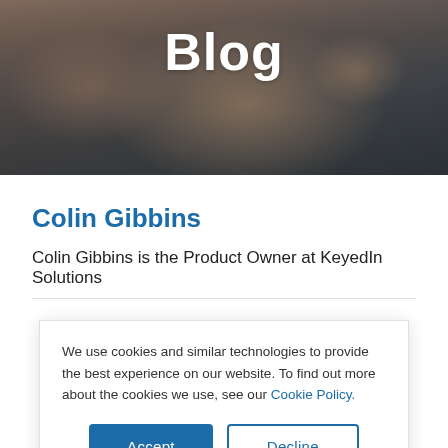[Figure (photo): Hero banner image showing hands typing on a laptop keyboard, with a dark overlay tint.]
Blog
Colin Gibbins
Colin Gibbins is the Product Owner at KeyedIn Solutions
We use cookies and similar technologies to provide the best experience on our website. To find out more about the cookies we use, see our Cookie Policy.
Accept
Decline